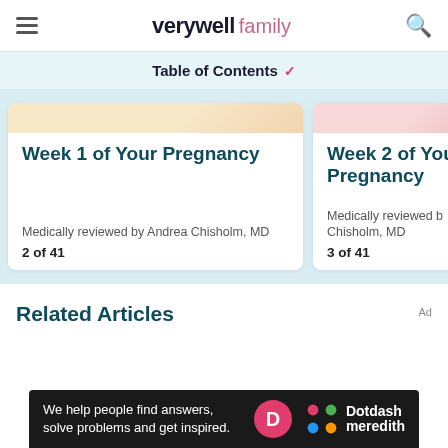verywell family
Table of Contents
Week 1 of Your Pregnancy
Medically reviewed by Andrea Chisholm, MD
2 of 41
Week 2 of Your Pregnancy
Medically reviewed by Chisholm, MD
3 of 41
Related Articles
Ad
We help people find answers, solve problems and get inspired.
[Figure (logo): Dotdash Meredith logo with colorful dots icon]